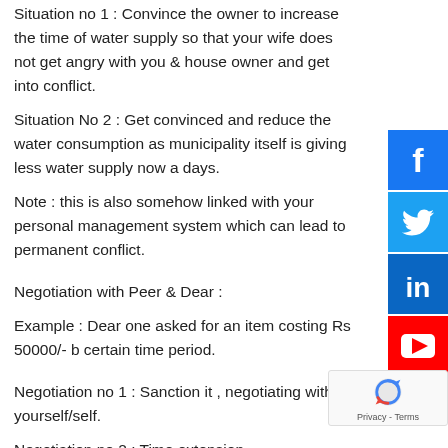Situation no 1 : Convince the owner to increase the time of water supply so that your wife does not get angry with you & house owner and get into conflict.
Situation No 2 : Get convinced and reduce the water consumption as municipality itself is giving less water supply now a days.
Note : this is also somehow linked with your personal management system which can lead to permanent conflict.
Negotiation with Peer & Dear :
Example : Dear one asked for an item costing Rs 50000/- b certain time period.
Negotiation no 1 : Sanction it , negotiating with yourself/self.
Negotiation no 2 : Time extension.
Negotiation no 3 : Reduce the budget by 10% or so.
Note :Negotiate up to that point where both are happy.